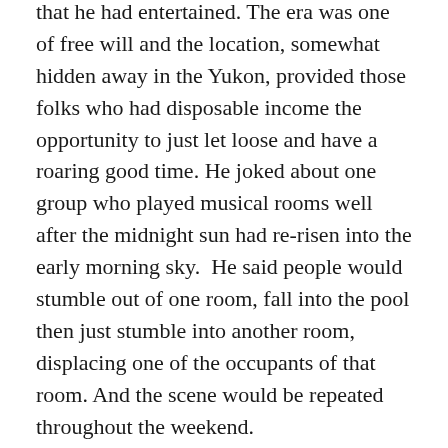that he had entertained. The era was one of free will and the location, somewhat hidden away in the Yukon, provided those folks who had disposable income the opportunity to just let loose and have a roaring good time. He joked about one group who played musical rooms well after the midnight sun had re-risen into the early morning sky.  He said people would stumble out of one room, fall into the pool then just stumble into another room, displacing one of the occupants of that room. And the scene would be repeated throughout the weekend.
One of Jake's favourite topics and one about which he was eager to discuss with young musician type people like my friends and me was the idea of producing a large, outdoor music festival. Somewhere nearby (he wouldn't disclose the location) he had found a large natural